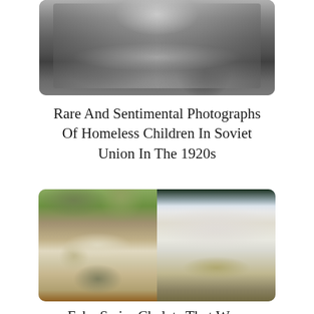[Figure (photo): Black and white photograph of a homeless child reading or holding a large newspaper/sign, viewed from above, historical Soviet-era image from the 1920s]
Rare And Sentimental Photographs Of Homeless Children In Soviet Union In The 1920s
[Figure (photo): Color photograph showing two views of fake Swiss chalets that are actually disguised military bunkers — left image shows an ivy-covered building blending into forest, right image shows a white chalet-style building on a hillside with a dark green roof]
Fake Swiss Chalets That Were Actually A Secret Military Weapon